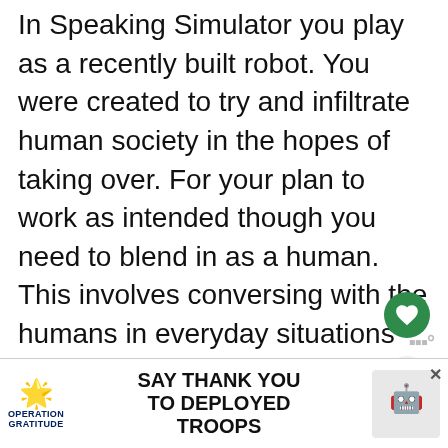In Speaking Simulator you play as a recently built robot. You were created to try and infiltrate human society in the hopes of taking over. For your plan to work as intended though you need to blend in as a human. This involves conversing with the humans in everyday situations and trying to not tip them off to the fact that you are in fact a robot. This involves getting a job, talking with colleagues, going on dates, and advancing your career as you plan your takeover of the human race. Will you be successful in tricking those naive humans or will you be caught before you are able to...
[Figure (screenshot): Like/heart button overlay (green circle with heart icon)]
[Figure (screenshot): Share button overlay (grey circle with share icon)]
[Figure (screenshot): What's Next popup with TV thumbnail and text: September 2022 TV and...]
[Figure (screenshot): Operation Gratitude advertisement banner: SAY THANK YOU TO DEPLOYED TROOPS]